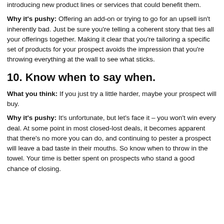introducing new product lines or services that could benefit them.
Why it's pushy: Offering an add-on or trying to go for an upsell isn't inherently bad. Just be sure you're telling a coherent story that ties all your offerings together. Making it clear that you're tailoring a specific set of products for your prospect avoids the impression that you're throwing everything at the wall to see what sticks.
10. Know when to say when.
What you think: If you just try a little harder, maybe your prospect will buy.
Why it's pushy: It's unfortunate, but let's face it – you won't win every deal. At some point in most closed-lost deals, it becomes apparent that there's no more you can do, and continuing to pester a prospect will leave a bad taste in their mouths. So know when to throw in the towel. Your time is better spent on prospects who stand a good chance of closing.